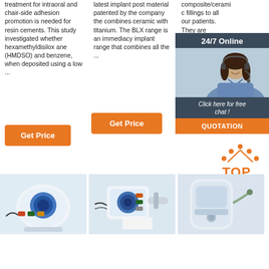treatment for intraoral and chair-side adhesion promotion is needed for resin cements. This study investigated whether hexamethyldisiloxane (HMDSO) and benzene, when deposited using a low ...
[Figure (other): Orange Get Price button]
latest implant post material patented by the company the combines ceramic with titanium. The BLX range is an immediacy implant range that combines all the ...
[Figure (other): Orange Get Price button]
composite/ceramic fillings to all our patients. They are extremely strong and aesthetically pleasing
[Figure (other): Orange Get button]
[Figure (infographic): 24/7 Online chat widget with female customer service representative photo, Click here for free chat text, and QUOTATION button]
[Figure (other): TOP logo with orange dots above text]
[Figure (photo): Medical device photo 1 - blue and white dental/lab equipment]
[Figure (photo): Medical device photo 2 - dental micromotor with handpiece]
[Figure (photo): Medical device photo 3 - white medical device]